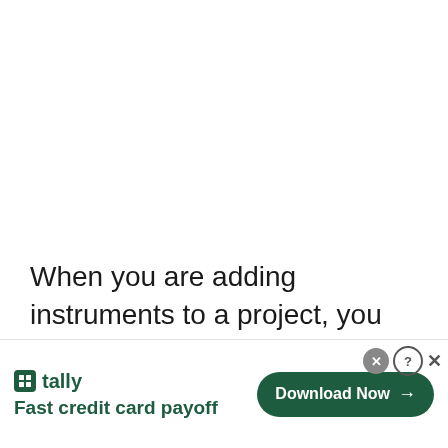When you are adding instruments to a project, you have to make sure that you have the right things in place for a
[Figure (other): Advertisement banner for Tally app — Fast credit card payoff. Shows Tally logo (green square icon with 't'), brand name 'tally', tagline 'Fast credit card payoff', and a green 'Download Now →' button. Close/help icons in top-right corner.]